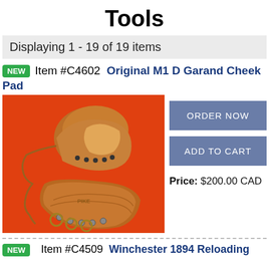Tools
Displaying 1 - 19 of 19 items
NEW  Item #C4602  Original M1 D Garand Cheek Pad
[Figure (photo): Photo of two brown leather M1 D Garand cheek pads on an orange background, with metal hardware and lacing]
ORDER NOW
ADD TO CART
Price: $200.00 CAD
NEW  Item #C4509  Winchester 1894 Reloading